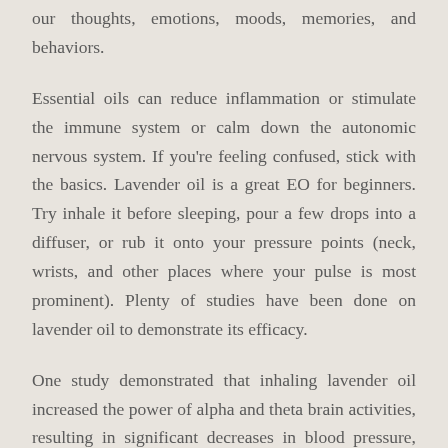our thoughts, emotions, moods, memories, and behaviors.
Essential oils can reduce inflammation or stimulate the immune system or calm down the autonomic nervous system. If you're feeling confused, stick with the basics. Lavender oil is a great EO for beginners. Try inhale it before sleeping, pour a few drops into a diffuser, or rub it onto your pressure points (neck, wrists, and other places where your pulse is most prominent). Plenty of studies have been done on lavender oil to demonstrate its efficacy.
One study demonstrated that inhaling lavender oil increased the power of alpha and theta brain activities, resulting in significant decreases in blood pressure, heart rate, and skin temperature. But another, slightly larger study supported these results and showed that the same method of application (inhalation) before bed